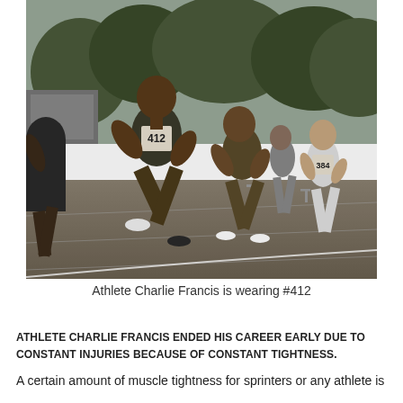[Figure (photo): Black and white photograph of multiple track athletes sprinting on a racing track. The lead athlete wears bib number 412. Other athletes visible include one wearing bib number 384. The athletes are in explosive sprinting postures at the start of a race.]
Athlete Charlie Francis is wearing #412
ATHLETE CHARLIE FRANCIS ENDED HIS CAREER EARLY DUE TO CONSTANT INJURIES BECAUSE OF CONSTANT TIGHTNESS.
A certain amount of muscle tightness for sprinters or any athlete is